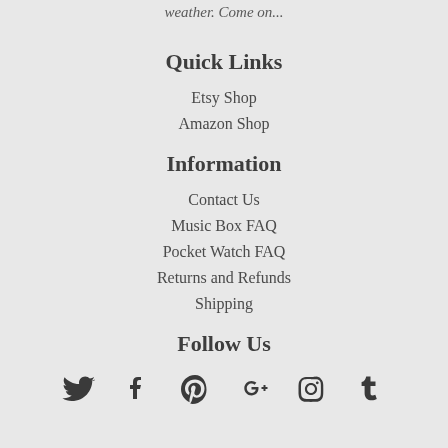weather. Come on...
Quick Links
Etsy Shop
Amazon Shop
Information
Contact Us
Music Box FAQ
Pocket Watch FAQ
Returns and Refunds
Shipping
Follow Us
[Figure (infographic): Social media icons row: Twitter, Facebook, Pinterest, Google+, Instagram, Tumblr]